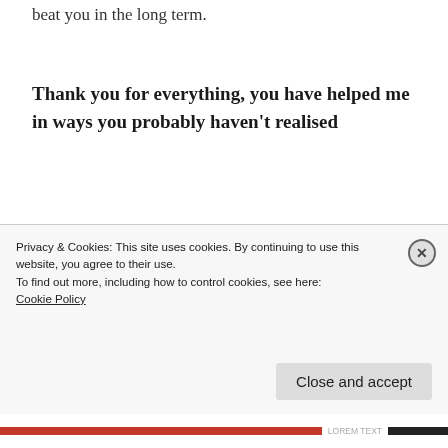beat you in the long term.
Thank you for everything, you have helped me in ways you probably haven't realised
As weird and unexpected as this may be, I don't think I could have a chance to speak to you and not thank you. With you being in my life I have learned and skills and...
Privacy & Cookies: This site uses cookies. By continuing to use this website, you agree to their use.
To find out more, including how to control cookies, see here:
Cookie Policy
Close and accept